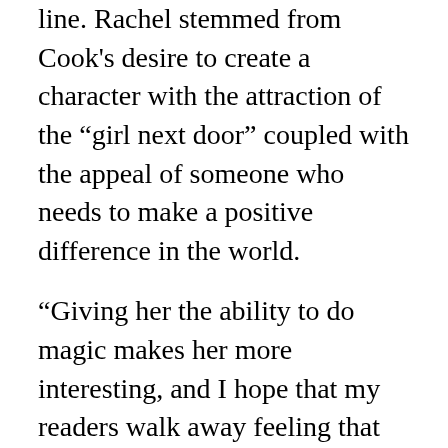line. Rachel stemmed from Cook's desire to create a character with the attraction of the “girl next door” coupled with the appeal of someone who needs to make a positive difference in the world.
“Giving her the ability to do magic makes her more interesting, and I hope that my readers walk away feeling that they can make a difference, too,” said Harrison.
Cursed features the return of Rachel’s best friend, Ivy Tamwood. In the book, Ivy must escort a deadly vampire back to Cincinnati, one who has a grudge against Rachel. Reaching out to the demon named Hodlin for